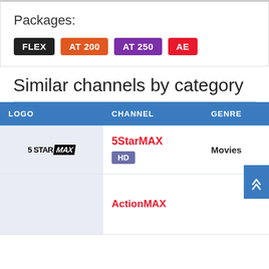Packages:
FLEX  AT 200  AT 250  AE
Similar channels by category
| LOGO | CHANNEL | GENRE |
| --- | --- | --- |
| [5StarMAX logo] | 5StarMAX HD | Movies |
| [ActionMAX logo] | ActionMAX |  |